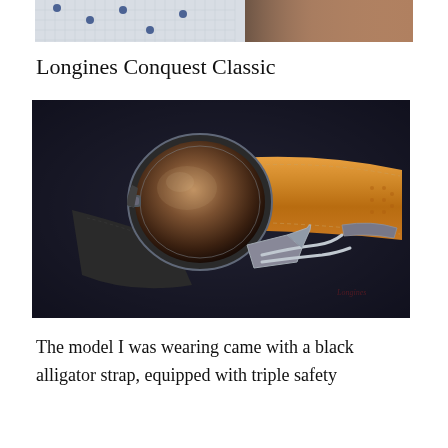[Figure (photo): Partial top crop of a photo, showing a checkered fabric background with dark blue dots and what appears to be a person's hand or wrist area with a brown/tan leather strap visible on the right.]
Longines Conquest Classic
[Figure (photo): Close-up photo of the back of a Longines Conquest Classic watch showing the caseback and a tan/orange leather strap with deployant buckle clasp, laid on a dark navy/grey surface. A red Longines logo watermark is faintly visible in the lower right corner.]
The model I was wearing came with a black alligator strap, equipped with triple safety